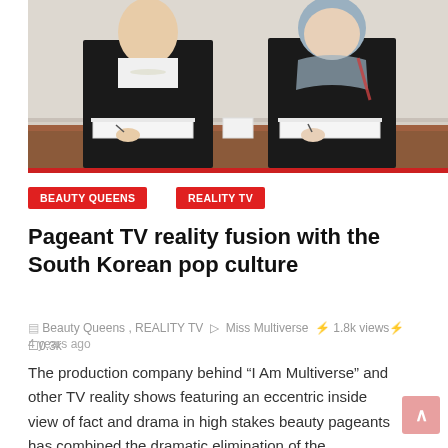[Figure (photo): Two women in dark blazers sitting at a table with notebooks, photographed from the torso up against a light wall background.]
BEAUTY QUEENS
REALITY TV
Pageant TV reality fusion with the South Korean pop culture
Beauty Queens , REALITY TV  Miss Multiverse  1.8k views  0.3k  4 years ago
The production company behind “I Am Multiverse” and other TV reality shows featuring an eccentric inside view of fact and drama in high stakes beauty pageants has combined the dramatic elimination of the contestants as part of the game mixed with intellectual, adventurous and adrenaline charged challenges. This new elimination…